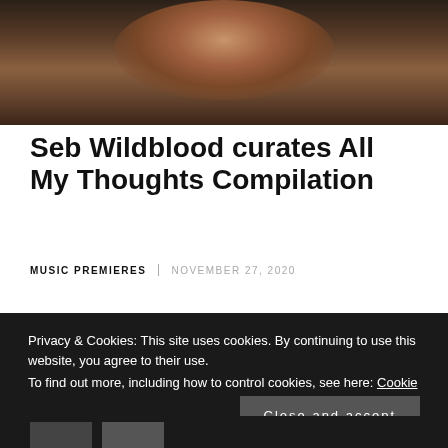[Figure (photo): Close-up photo of a person's face and upper torso, dark moody background with warm skin tones]
Seb Wildblood curates All My Thoughts Compilation
MUSIC PREMIERES  |  NOVEMBER 27, 2020
Privacy & Cookies: This site uses cookies. By continuing to use this website, you agree to their use.
To find out more, including how to control cookies, see here: Cookie Policy
Close and accept